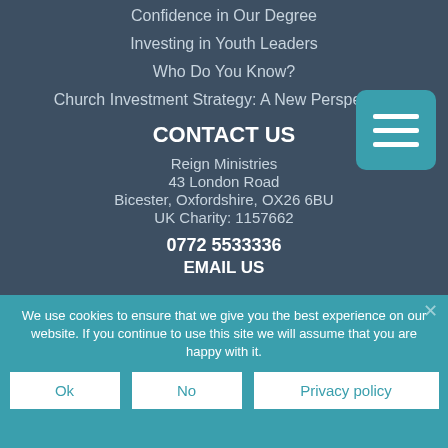Confidence in Our Degree
Investing in Youth Leaders
Who Do You Know?
Church Investment Strategy: A New Perspective
CONTACT US
Reign Ministries
43 London Road
Bicester, Oxfordshire, OX26 6BU
UK Charity: 1157662
0772 5533336
EMAIL US
We use cookies to ensure that we give you the best experience on our website. If you continue to use this site we will assume that you are happy with it.
Ok
No
Privacy policy